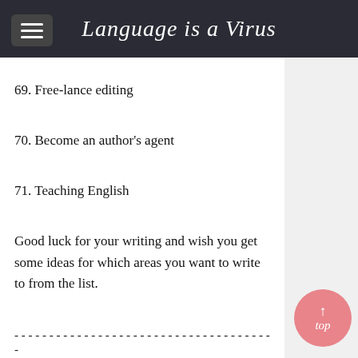Language is a Virus
69. Free-lance editing
70. Become an author's agent
71. Teaching English
Good luck for your writing and wish you get some ideas for which areas you want to write to from the list.
- - - - - - - - - - - - - - - - - - - - - - - - - - - - - - - - - - - - - - - - - - - -
- - - - - - - - - - - - - - - - - - - - - - - - - - - - - - - - -
Julia Tang publishes Smart Online Business Tips, a fresh and informative newsletter dedicated to